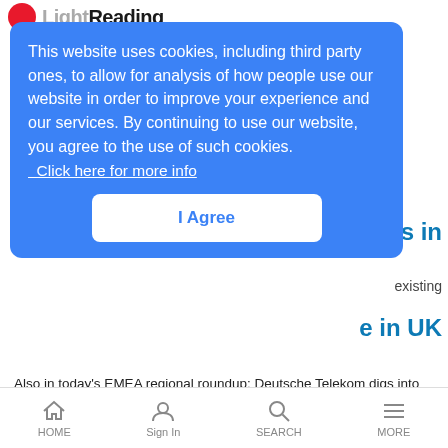Light Reading
This website uses cookies, including third party ones, to allow for analysis of how people use our website in order to improve your experience and our services. By continuing to use our website, you agree to the use of such cookies. Click here for more info
I Agree
s in
existing
e in UK
Also in today's EMEA regional roundup: Deutsche Telekom digs into the IoT market; Kudelski Group revenues slump in H1; Porsche teams up with Apple Music; Telenor completes DNA deal.
Russia's MTS still in no hurry on 5G
News Analysis | 8/21/2019
Even if it had the spectrum, Russia's biggest operator says there is no
HOME  Sign In  SEARCH  MORE